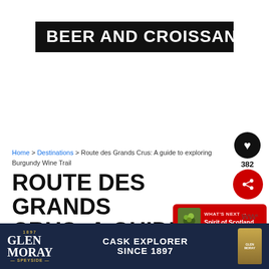BEER AND CROISSANTS
Home > Destinations > Route des Grands Crus: A guide to exploring the Burgundy Wine Trail
ROUTE DES GRANDS CRUS: A GUIDE TO EXPLORING THE B...
[Figure (infographic): Glen Moray Speyside whisky advertisement banner with logo, bottle, and text: CASK EXPLORER SINCE 1897]